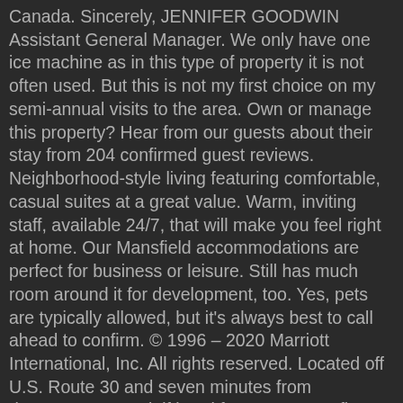Canada. Sincerely, JENNIFER GOODWIN Assistant General Manager. We only have one ice machine as in this type of property it is not often used. But this is not my first choice on my semi-annual visits to the area. Own or manage this property? Hear from our guests about their stay from 204 confirmed guest reviews. Neighborhood-style living featuring comfortable, casual suites at a great value. Warm, inviting staff, available 24/7, that will make you feel right at home. Our Mansfield accommodations are perfect for business or leisure. Still has much room around it for development, too. Yes, pets are typically allowed, but it's always best to call ahead to confirm. © 1996 – 2020 Marriott International, Inc. All rights reserved. Located off U.S. Route 30 and seven minutes from downtown Second, if breakfast starts at 7, fine, but don't tell some of the customers that they can come early without telling everyone. Start your morning with complimentary breakfast served daily and stay connected with free Wi-Fi offered throughout our hotel. Traveling for business? Response from inspire08093866368, Manager at TownePlace Suites Mansfield